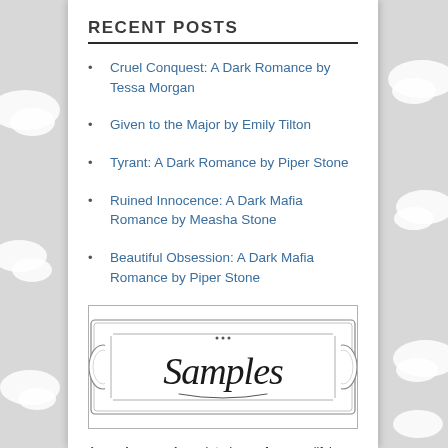RECENT POSTS
Cruel Conquest: A Dark Romance by Tessa Morgan
Given to the Major by Emily Tilton
Tyrant: A Dark Romance by Piper Stone
Ruined Innocence: A Dark Mafia Romance by Measha Stone
Beautiful Obsession: A Dark Mafia Romance by Piper Stone
[Figure (illustration): Decorative banner/label with ornate border containing the word 'Samples' in cursive script]
As an Amazon Associate I earn from qualifying purchases.